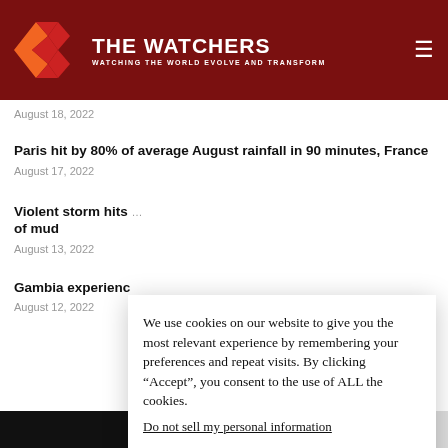THE WATCHERS — WATCHING THE WORLD EVOLVE AND TRANSFORM
August 18, 2022
Paris hit by 80% of average August rainfall in 90 minutes, France
August 17, 2022
Violent storm hits [obscured] of mud
August 13, 2022
Gambia experienc[obscured]
August 12, 2022
We use cookies on our website to give you the most relevant experience by remembering your preferences and repeat visits. By clicking “Accept”, you consent to the use of ALL the cookies.
Do not sell my personal information.